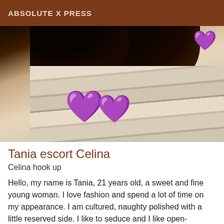ABSOLUTE X PRESS
[Figure (photo): Close-up photo of a person with dark hair, with purple heart emojis overlaid on a wooden surface background]
Tania escort Celina
Celina hook up
Hello, my name is Tania, 21 years old, a sweet and fine young woman. I love fashion and spend a lot of time on my appearance. I am cultured, naughty polished with a little reserved side. I like to seduce and I like open-